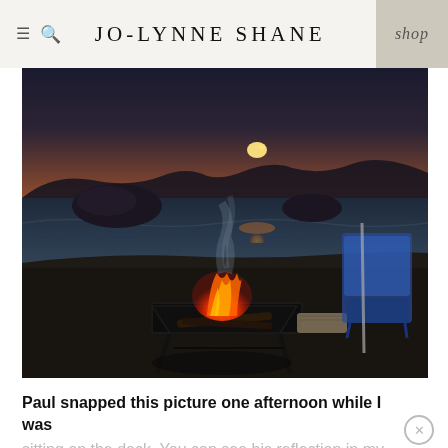JO-LYNNE SHANE | shop
[Figure (photo): Outdoor sunset scene at a lakeside or riverbank beach with a metal fire pit burning with orange flames in the foreground, smoke rising, blue folding chairs in the background right, rocky shoreline and water reflecting golden sunset light, silhouetted hills in the distance.]
Paul snapped this picture one afternoon while I was sitting on the dock. You can see his reflection in my sunglasses, lol!!!